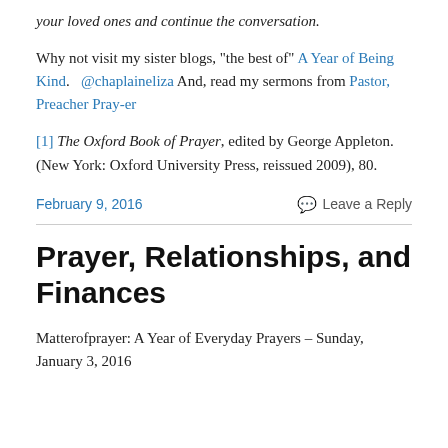your loved ones and continue the conversation.
Why not visit my sister blogs, "the best of" A Year of Being Kind.   @chaplaineliza And, read my sermons from Pastor, Preacher Pray-er
[1] The Oxford Book of Prayer, edited by George Appleton. (New York: Oxford University Press, reissued 2009), 80.
February 9, 2016
Leave a Reply
Prayer, Relationships, and Finances
Matterofprayer: A Year of Everyday Prayers – Sunday, January 3, 2016